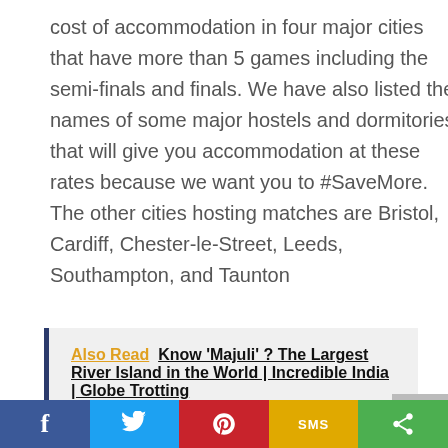cost of accommodation in four major cities that have more than 5 games including the semi-finals and finals. We have also listed the names of some major hostels and dormitories that will give you accommodation at these rates because we want you to #SaveMore. The other cities hosting matches are Bristol, Cardiff, Chester-le-Street, Leeds, Southampton, and Taunton
Also Read  Know 'Majuli' ? The Largest River Island in the World | Incredible India | Globe Trotting
4. Travel and Unravel the City Delights